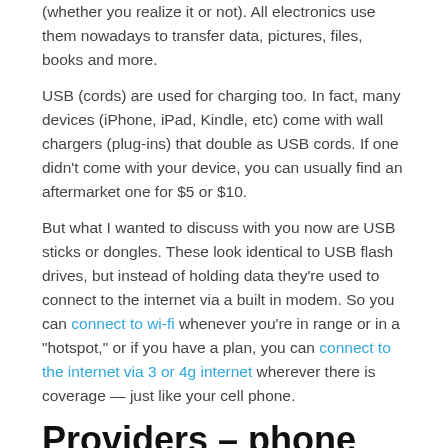(whether you realize it or not). All electronics use them nowadays to transfer data, pictures, files, books and more.
USB (cords) are used for charging too. In fact, many devices (iPhone, iPad, Kindle, etc) come with wall chargers (plug-ins) that double as USB cords. If one didn't come with your device, you can usually find an aftermarket one for $5 or $10.
But what I wanted to discuss with you now are USB sticks or dongles. These look identical to USB flash drives, but instead of holding data they're used to connect to the internet via a built in modem. So you can connect to wi-fi whenever you're in range or in a "hotspot," or if you have a plan, you can connect to the internet via 3 or 4g internet wherever there is coverage — just like your cell phone.
Providers – phone